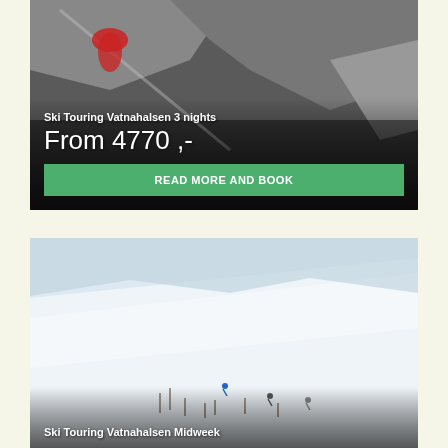[Figure (photo): Skier in red jacket carving through snow on a steep mountain slope, dark rocky mountain scenery in background]
Ski Touring Vatnahalsen 3 nights
From 4770 ,-
READ MORE AND BOOK
[Figure (photo): Three ski tourers climbing a wide snowy hillside with sparse trees in winter, misty mountains in background]
Ski Touring Vatnahalsen Midweek